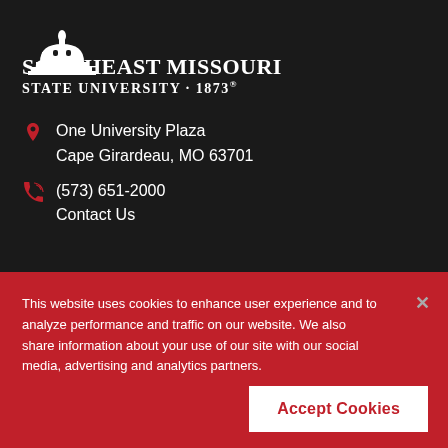[Figure (logo): Southeast Missouri State University logo — white dome/capitol building icon above university name text]
Southeast Missouri State University · 1873®
One University Plaza
Cape Girardeau, MO 63701
(573) 651-2000
Contact Us
This website uses cookies to enhance user experience and to analyze performance and traffic on our website. We also share information about your use of our site with our social media, advertising and analytics partners.
Accept Cookies